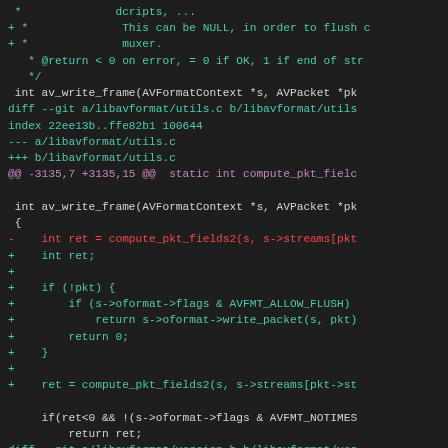[Figure (screenshot): Code diff screenshot showing git diff output for libavformat files (avformat.h, utils.c, version.h) with syntax highlighting. Added lines in teal/cyan, removed lines in red, diff headers in teal, hunk headers in purple, context code in white/gray on dark background.]